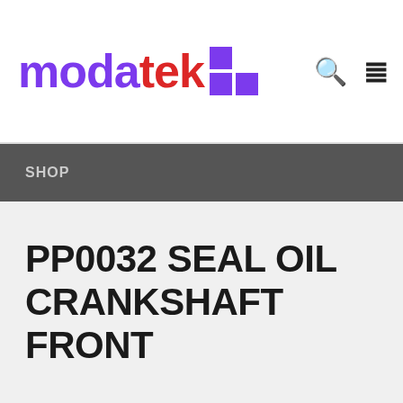[Figure (logo): Modatek logo with purple 'moda' text, red 'tek' text, and a 2x2 purple grid icon on the right]
SHOP
PP0032 SEAL OIL CRANKSHAFT FRONT
This site uses cookies. By continuing to browse the site, you are agreeing to our use of cookies.
Orders placed today will be dispatched on 6th September 2022 – Dismiss